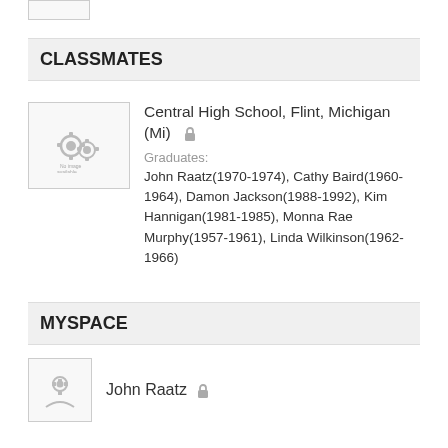[Figure (thumbnail): Small thumbnail placeholder at top of page]
CLASSMATES
[Figure (thumbnail): School placeholder thumbnail with gear/settings icon]
Central High School, Flint, Michigan (Mi)
Graduates:
John Raatz(1970-1974), Cathy Baird(1960-1964), Damon Jackson(1988-1992), Kim Hannigan(1981-1985), Monna Rae Murphy(1957-1961), Linda Wilkinson(1962-1966)
MYSPACE
[Figure (thumbnail): Person thumbnail placeholder]
John Raatz